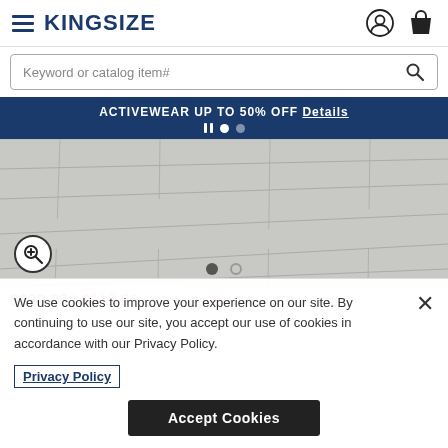KingSize — navigation header with hamburger menu, logo, user icon, and cart icon
Keyword or catalog item#
ACTIVEWEAR UP TO 50% OFF Details
[Figure (photo): White wood plank flooring / product background image with zoom button and carousel dots]
$239.99 | $119.99 with code BHCAUG50 Details
We use cookies to improve your experience on our site. By continuing to use our site, you accept our use of cookies in accordance with our Privacy Policy.
Privacy Policy
Accept Cookies